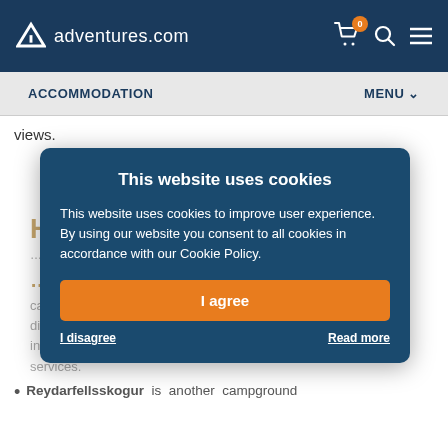adventures.com
ACCOMMODATION    MENU
views.
Hotel Húsafell is a rave-reviewed 4-star hotel located in Húsafell.
This website uses cookies
This website uses cookies to improve user experience. By using our website you consent to all cookies in accordance with our Cookie Policy.
I agree
I disagree    Read more
Húsafellsskógur campground is a popular campground in West Iceland. It's within walking distance to all main services in Húsafell and includes showers, cooking facilities, and laundry services.
Reydarfellsskogur is another campground